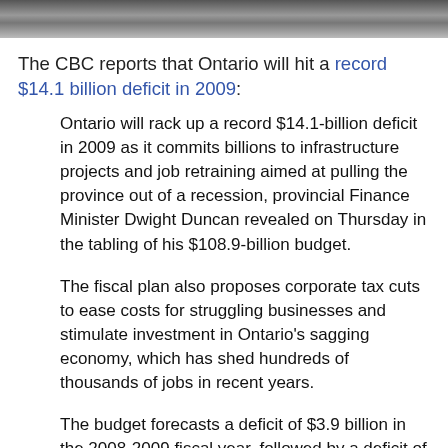[Figure (photo): Partial photo strip at top of page, showing cropped image of people or a scene]
The CBC reports that Ontario will hit a record $14.1 billion deficit in 2009:
Ontario will rack up a record $14.1-billion deficit in 2009 as it commits billions to infrastructure projects and job retraining aimed at pulling the province out of a recession, provincial Finance Minister Dwight Duncan revealed on Thursday in the tabling of his $108.9-billion budget.
The fiscal plan also proposes corporate tax cuts to ease costs for struggling businesses and stimulate investment in Ontario's sagging economy, which has shed hundreds of thousands of jobs in recent years.
The budget forecasts a deficit of $3.9 billion in the 2008-2009 fiscal year, followed by a deficit of $14.1 billion in 2009-2010. It anticipates Ontario will run deficits for the next seven years, with a proposed return to balanced